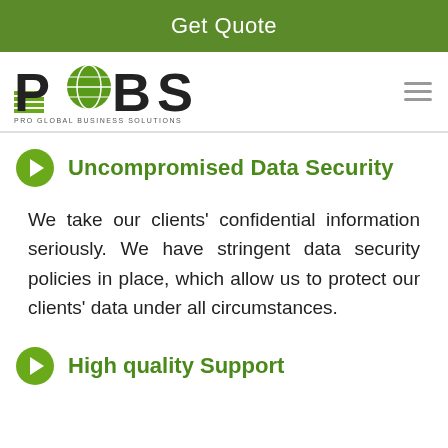Get Quote
[Figure (logo): PCBS Pro Global Business Solutions logo with green globe icon and horizontal lines]
Uncompromised Data Security
We take our clients' confidential information seriously. We have stringent data security policies in place, which allow us to protect our clients' data under all circumstances.
High quality Support